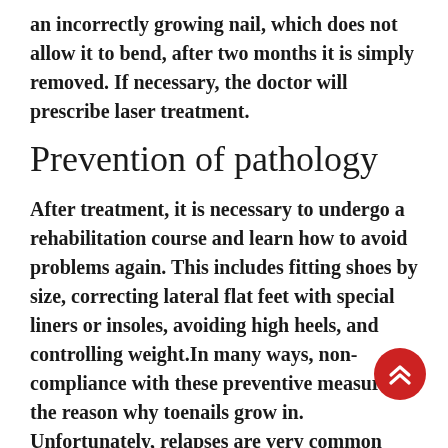an incorrectly growing nail, which does not allow it to bend, after two months it is simply removed. If necessary, the doctor will prescribe laser treatment.
Prevention of pathology
After treatment, it is necessary to undergo a rehabilitation course and learn how to avoid problems again. This includes fitting shoes by size, correcting lateral flat feet with special liners or insoles, avoiding high heels, and controlling weight.In many ways, non-compliance with these preventive measures is the reason why toenails grow in. Unfortunately, relapses are very common after the first episode of onychocryptosis.
Another important prevention factor is the correct